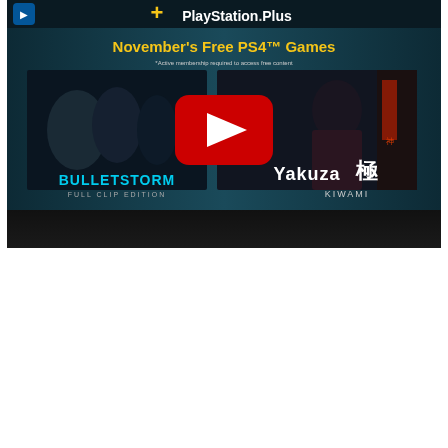[Figure (screenshot): YouTube video thumbnail for PlayStation Plus November's Free PS4 Games, showing Bulletstorm Full Clip Edition and Yakuza Kiwami game art with a YouTube play button overlay. PlayStation Plus logo and gold star icon visible at top.]